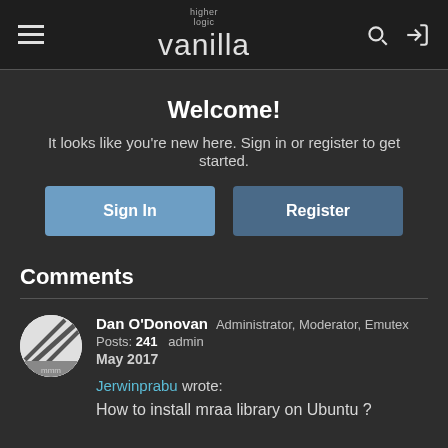higher logic vanilla
Welcome!
It looks like you're new here. Sign in or register to get started.
Sign In  Register
Comments
Dan O'Donovan  Administrator, Moderator, Emutex
Posts: 241  admin
May 2017
Jerwinprabu wrote:
How to install mraa library on Ubuntu ?